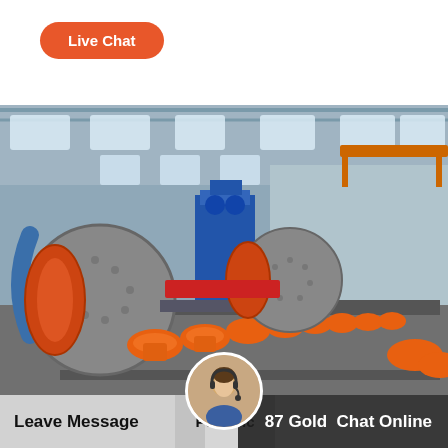[Figure (other): Orange rounded-rectangle button labeled 'Live Chat' on white background]
[Figure (photo): Industrial factory floor with large cylindrical ball mills, orange mechanical components on conveyor lines, blue overhead crane, and steel-frame warehouse structure with skylights]
Leave Message   Periodic   87 Gold   Chat Online